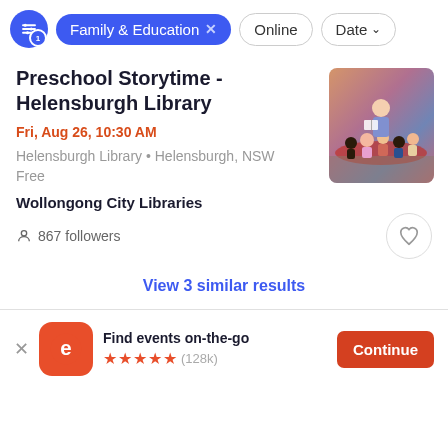Family & Education  Online  Date
Preschool Storytime - Helensburgh Library
Fri, Aug 26, 10:30 AM
Helensburgh Library • Helensburgh, NSW
Free
[Figure (photo): Children sitting on a red mat at a library storytime session with an adult reading to them]
Wollongong City Libraries
867 followers
View 3 similar results
Find events on-the-go
★★★★★ (128k)
Continue